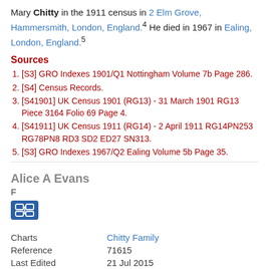Mary Chitty in the 1911 census in 2 Elm Grove, Hammersmith, London, England.4 He died in 1967 in Ealing, London, England.5
Sources
[S3] GRO Indexes 1901/Q1 Nottingham Volume 7b Page 286.
[S4] Census Records.
[S41901] UK Census 1901 (RG13) - 31 March 1901 RG13 Piece 3164 Folio 69 Page 4.
[S41911] UK Census 1911 (RG14) - 2 April 1911 RG14PN253 RG78PN8 RD3 SD2 ED27 SN313.
[S3] GRO Indexes 1967/Q2 Ealing Volume 5b Page 35.
Alice A Evans
F
[Figure (other): Person record icon button (blue box with link/network icon)]
|  |  |
| --- | --- |
| Charts | Chitty Family |
| Reference | 71615 |
| Last Edited | 21 Jul 2015 |
Alice A Evans married Walter Stevens Chitty, son of Edward Thomas Chitty and Mary Wills, in 1871 in Ealing...